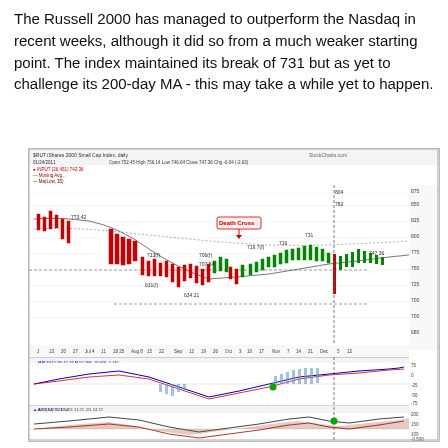The Russell 2000 has managed to outperform the Nasdaq in recent weeks, although it did so from a much weaker starting point. The index maintained its break of 731 but as yet to challenge its 200-day MA - this may take a while yet to happen.
[Figure (continuous-plot): Technical stock chart of the Russell 2000 Small Cap Index showing candlestick price data with moving averages, MACD, ADX, Stochastic, and BOST/BRKOUT indicator panels. The chart shows price action from approximately July through December, with a death cross annotation, support levels around 700-710, and a recovery toward 750. Multiple sub-panels show momentum and trend indicators with green dot signals marked near October/November.]